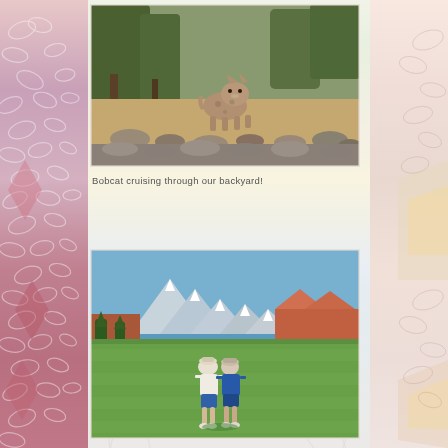[Figure (photo): A bobcat walking through a rocky desert backyard area with trees and gravel ground]
Bobcat cruising through our backyard!
[Figure (photo): Two people standing together on a golf course green with mountains and red rock formations in the background under a blue sky]